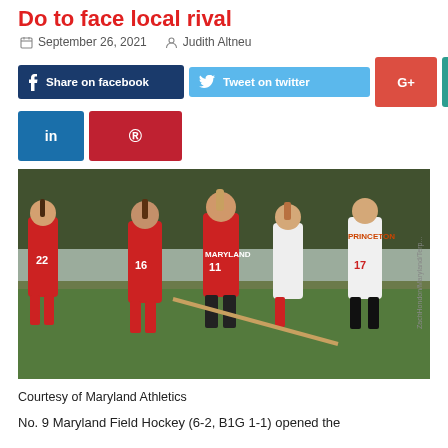Do to face local rival
September 26, 2021   Judith Altneu
[Figure (other): Social media share buttons: Share on facebook, Tweet on twitter, G+, Instagram, LinkedIn, Pinterest]
[Figure (photo): Maryland field hockey players in red uniforms celebrating on field, with Princeton player #17 in white uniform looking dejected]
Courtesy of Maryland Athletics
No. 9 Maryland Field Hockey (6-2, B1G 1-1) opened the